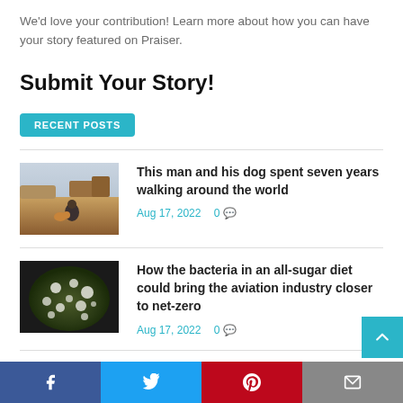We'd love your contribution! Learn more about how you can have your story featured on Praiser.
Submit Your Story!
RECENT POSTS
This man and his dog spent seven years walking around the world — Aug 17, 2022   0
How the bacteria in an all-sugar diet could bring the aviation industry closer to net-zero — Aug 17, 2022   0
Facebook | Twitter | Pinterest | Email